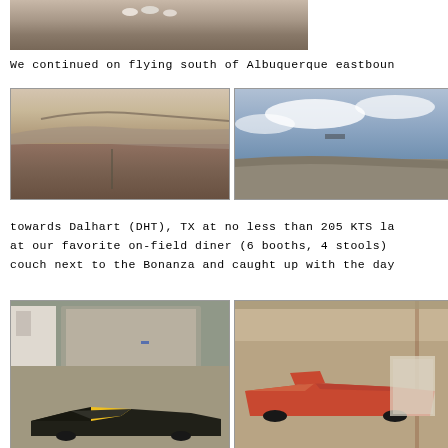[Figure (photo): Aerial or ground photo showing birds or aircraft on a runway/field, top portion cropped]
We continued on flying south of Albuquerque eastboun
[Figure (photo): Left: Aerial view of a city/town with mountains in the background, dry terrain]
[Figure (photo): Right: Aerial view showing sky with clouds and terrain below, taken from cockpit]
towards Dalhart (DHT), TX at no less than 205 KTS la
at our favorite on-field diner (6 booths, 4 stools)
couch next to the Bonanza and caught up with the day
[Figure (photo): Left: Black and white/yellow small aircraft (RV-style) parked outside hangar building]
[Figure (photo): Right: Red/orange Bonanza aircraft parked inside wooden-paneled hangar]